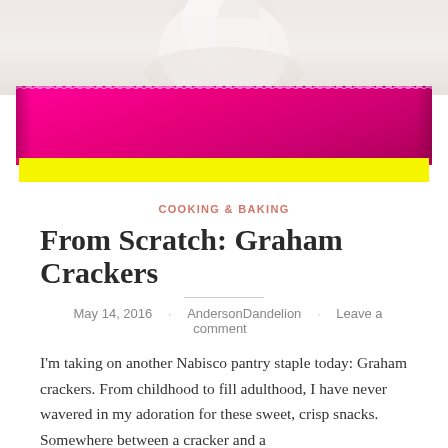[Figure (photo): Close-up photo of hands holding/pressing something on a surface, with a bright magenta/hot pink container or tray visible below, and a yellow band at the bottom edge.]
COOKING & BAKING
From Scratch: Graham Crackers
May 14, 2016 · AndersonDandelion · Leave a comment
I'm taking on another Nabisco pantry staple today: Graham crackers. From childhood to fill adulthood, I have never wavered in my adoration for these sweet, crisp snacks. Somewhere between a cracker and a